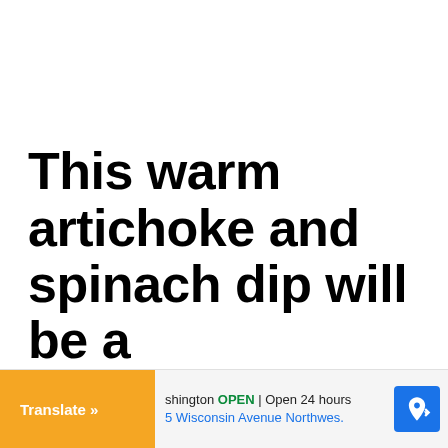This warm artichoke and spinach dip will be a
Translate »
shington OPEN | Open 24 hours 5 Wisconsin Avenue Northwes.